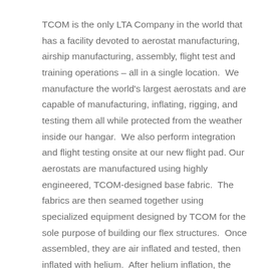TCOM is the only LTA Company in the world that has a facility devoted to aerostat manufacturing, airship manufacturing, assembly, flight test and training operations – all in a single location.  We manufacture the world's largest aerostats and are capable of manufacturing, inflating, rigging, and testing them all while protected from the weather inside our hangar.  We also perform integration and flight testing onsite at our new flight pad. Our aerostats are manufactured using highly engineered, TCOM-designed base fabric.  The fabrics are then seamed together using specialized equipment designed by TCOM for the sole purpose of building our flex structures.  Once assembled, they are air inflated and tested, then inflated with helium.  After helium inflation, the hardware and rigging is installed which prepares the aerostat for integration with the rest of the system.